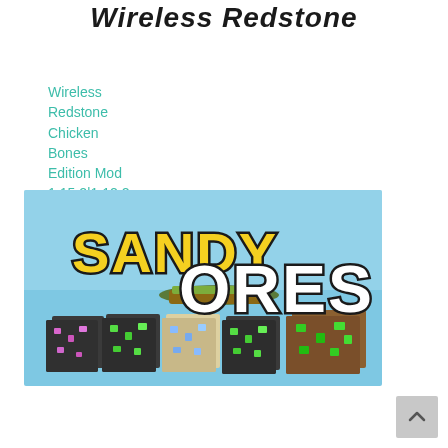Wireless Redstone
Wireless Redstone Chicken Bones Edition Mod 1.15.2|1.12.2
[Figure (illustration): Sandy Ores Mod banner image showing the text SANDY ORES in large yellow and white block letters against a sky blue background, with five Minecraft-style ore blocks displayed below a floating island]
Sandy Ores Mod 1.12.2